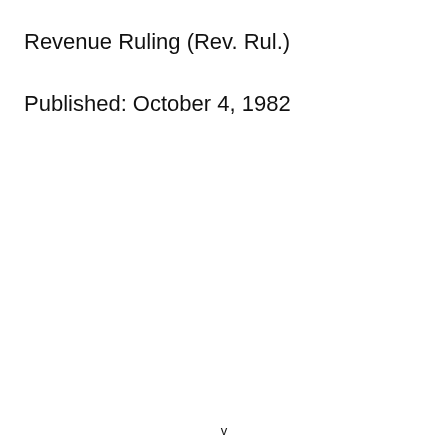Revenue Ruling (Rev. Rul.)
Published: October 4, 1982
v